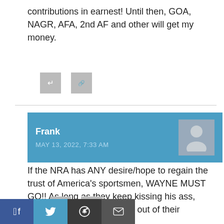contributions in earnest! Until then, GOA, NAGR, AFA, 2nd AF and other will get my money.
[Figure (other): Two small icon buttons (reply and share)]
Frank
MAY 13, 2022, 7:33 AM
[Figure (other): Avatar placeholder with person silhouette]
If the NRA has ANY desire/hope to regain the trust of America's sportsmen, WAYNE MUST GO!! As long as they keep kissing his ass, they'll never get all the sh*t out of their mouths.
[Figure (other): Two small icon buttons and social share bar with Facebook, Twitter, Reddit, Email]